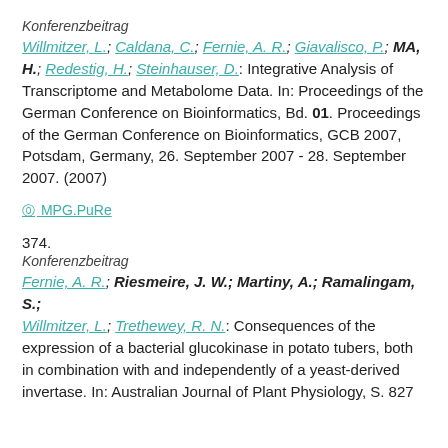Konferenzbeitrag
Willmitzer, L.; Caldana, C.; Fernie, A. R.; Giavalisco, P.; MA, H.; Redestig, H.; Steinhauser, D.: Integrative Analysis of Transcriptome and Metabolome Data. In: Proceedings of the German Conference on Bioinformatics, Bd. 01. Proceedings of the German Conference on Bioinformatics, GCB 2007, Potsdam, Germany, 26. September 2007 - 28. September 2007. (2007)
MPG.PuRe
374.
Konferenzbeitrag
Fernie, A. R.; Riesmeire, J. W.; Martiny, A.; Ramalingam, S.; Willmitzer, L.; Trethewey, R. N.: Consequences of the expression of a bacterial glucokinase in potato tubers, both in combination with and independently of a yeast-derived invertase. In: Australian Journal of Plant Physiology, S. 827